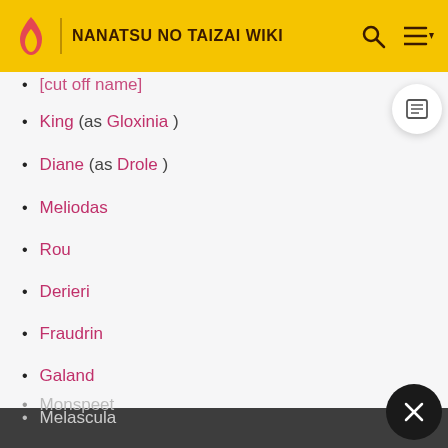NANATSU NO TAIZAI WIKI
[partially cut off name] (as Gloxinia)
King (as Gloxinia)
Diane (as Drole)
Meliodas
Rou
Derieri
Fraudrin
Galand
Melascula
Monspeet
Elizabeth
Ludociel
Nerobasta
Rajine
Sariel